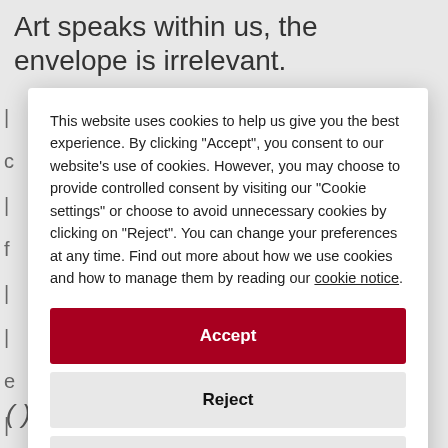Art speaks within us, the envelope is irrelevant.
This website uses cookies to help us give you the best experience. By clicking "Accept", you consent to our website's use of cookies. However, you may choose to provide controlled consent by visiting our "Cookie settings" or choose to avoid unnecessary cookies by clicking on "Reject". You can change your preferences at any time. Find out more about how we use cookies and how to manage them by reading our cookie notice.
Accept
Reject
Cookie settings